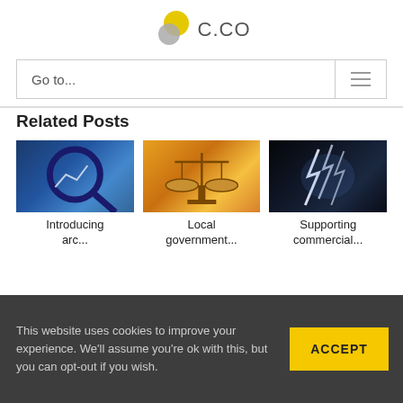[Figure (logo): C.CO logo with yellow and grey overlapping circles and text 'C.CO']
Go to...
Related Posts
[Figure (photo): Magnifying glass over financial charts]
[Figure (photo): Golden balance scales of justice on pink/red background]
[Figure (photo): Lightning storm over a city at night]
Introducing arc...
Local government...
Supporting commercial...
This website uses cookies to improve your experience. We'll assume you're ok with this, but you can opt-out if you wish.